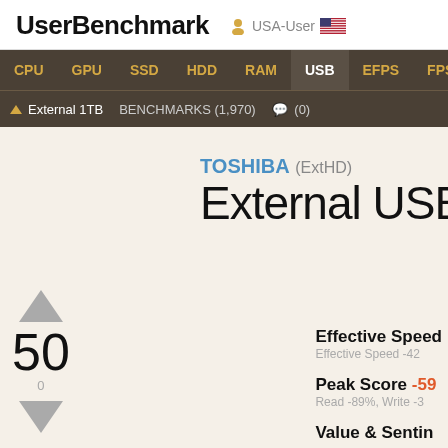UserBenchmark  USA-User
CPU  GPU  SSD  HDD  RAM  USB  EFPS  FPS  Sk
External 1TB  BENCHMARKS (1,970)  (0)
TOSHIBA (ExtHD) External USB 3.0 1TB
Effective Speed
Effective Speed -42
Peak Score -59
Read -89%, Write -3
Value & Sentin